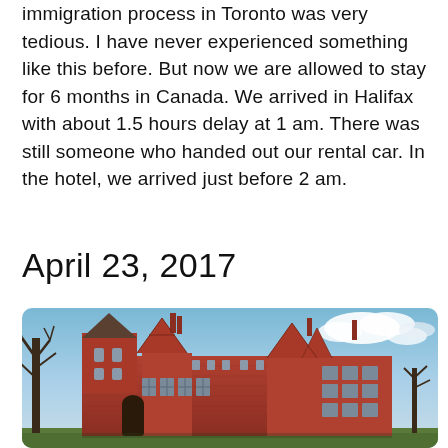immigration process in Toronto was very tedious. I have never experienced something like this before. But now we are allowed to stay for 6 months in Canada. We arrived in Halifax with about 1.5 hours delay at 1 am. There was still someone who handed out our rental car. In the hotel, we arrived just before 2 am.
April 23, 2017
[Figure (photo): Photograph of a large historic red-brick building with stepped gable rooflines and a round tower, surrounded by bare trees under a blue sky with white clouds.]